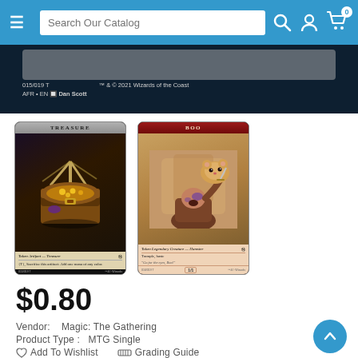Search Our Catalog
[Figure (photo): Bottom portion of a Magic: The Gathering card showing set info: 015/019 T, AFR • EN, Dan Scott, TM & © 2021 Wizards of the Coast]
[Figure (photo): Two Magic: The Gathering token cards side by side: Treasure token (Token Artifact - Treasure, art by Dan Scott) and Boo token (Token Legendary Creature - Hamster, Trample Haste, Go for the eyes Boo!, 1/1)]
$0.80
Vendor:   Magic: The Gathering
Product Type :   MTG Single
Add To Wishlist   Grading Guide